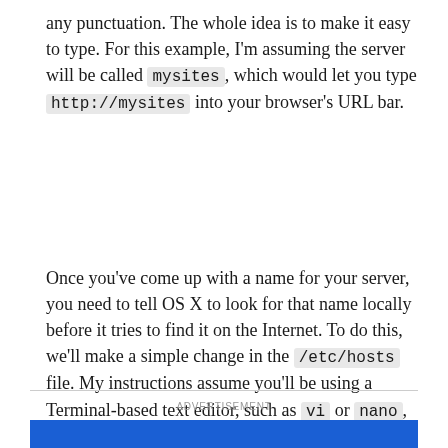any punctuation. The whole idea is to make it easy to type. For this example, I'm assuming the server will be called mysites, which would let you type http://mysites into your browser's URL bar.
Once you've come up with a name for your server, you need to tell OS X to look for that name locally before it tries to find it on the Internet. To do this, we'll make a simple change in the /etc/hosts file. My instructions assume you'll be using a Terminal-based text editor, such as vi or nano, but programs wuch as BBEdit and TextMate that offer a command-line interface could also be used—really, any text editor that lets you edit with root account privileges would do the trick.
ADVERTISEMENT